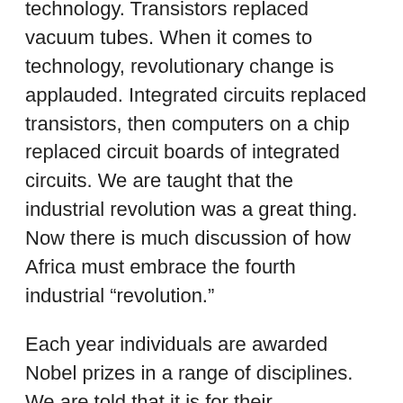technology. Transistors replaced vacuum tubes. When it comes to technology, revolutionary change is applauded. Integrated circuits replaced transistors, then computers on a chip replaced circuit boards of integrated circuits. We are taught that the industrial revolution was a great thing. Now there is much discussion of how Africa must embrace the fourth industrial “revolution.”
Each year individuals are awarded Nobel prizes in a range of disciplines. We are told that it is for their “revolutionary” contributions in physics, chemistry and even peace-making. An award-winning physicist once spoke of the days and hours of running experiments. After a